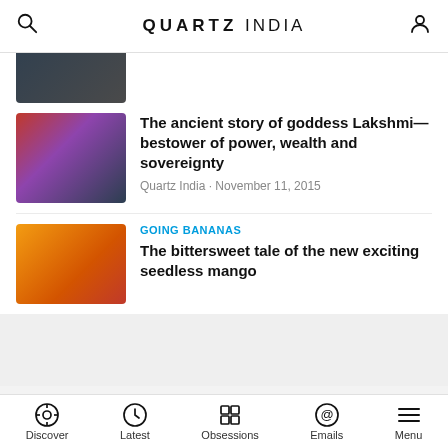QUARTZ INDIA
[Figure (photo): Partial cropped photo visible at top]
The ancient story of goddess Lakshmi—bestower of power, wealth and sovereignty
Quartz India · November 11, 2015
GOING BANANAS
The bittersweet tale of the new exciting seedless mango
[Figure (photo): Image of golden coins/banana decoration on red background]
QUARTZ
Make business better™
Discover  Latest  Obsessions  Emails  Menu